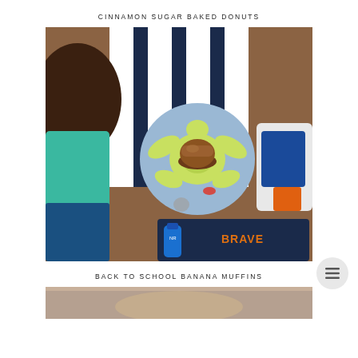CINNAMON SUGAR BAKED DONUTS
[Figure (photo): Overhead photo of a child looking down at a plate with a turtle design holding a baked muffin/donut, on a striped navy and white surface, with a Nerf gun visible to the right and a navy 'BRAVE' tray at the bottom.]
BACK TO SCHOOL BANANA MUFFINS
[Figure (photo): Partially visible photo at the bottom of the page, showing the top edge of another food-related image.]